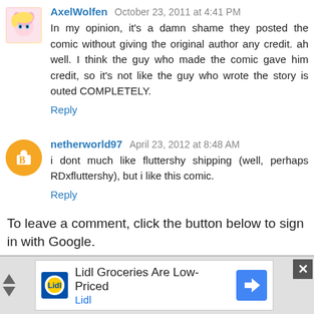AxelWolfen October 23, 2011 at 4:41 PM
In my opinion, it's a damn shame they posted the comic without giving the original author any credit. ah well. I think the guy who made the comic gave him credit, so it's not like the guy who wrote the story is outed COMPLETELY.
Reply
netherworld97 April 23, 2012 at 8:48 AM
i dont much like fluttershy shipping (well, perhaps RDxfluttershy), but i like this comic.
Reply
To leave a comment, click the button below to sign in with Google.
SIGN IN WITH GOOGLE
[Figure (infographic): Advertisement banner for Lidl Groceries Are Low-Priced with Lidl logo and navigation arrow icon, close button top right]